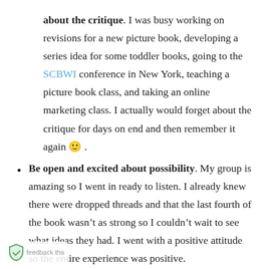about the critique. I was busy working on revisions for a new picture book, developing a series idea for some toddler books, going to the SCBWI conference in New York, teaching a picture book class, and taking an online marketing class. I actually would forget about the critique for days on end and then remember it again 🙂.
Be open and excited about possibility. My group is amazing so I went in ready to listen. I already knew there were dropped threads and that the last fourth of the book wasn't as strong so I couldn't wait to see what ideas they had. I went with a positive attitude so the entire experience was positive.
Remember that you are the author. The bucks stops with you. You can take or leave the comments–you know the story you're trying to tell so use the feedback that most supports that story. And ask